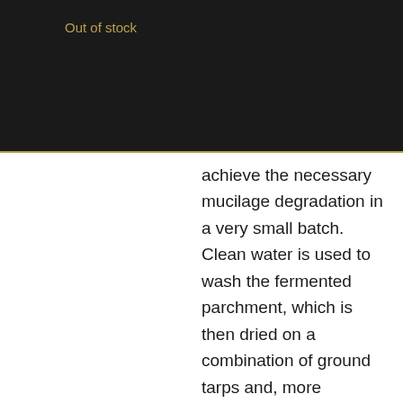Out of stock
achieve the necessary mucilage degradation in a very small batch. Clean water is used to wash the fermented parchment, which is then dried on a combination of ground tarps and, more frequently, raised screen beds. The farming network maintains a central collection depot near the Highlands Highway, where dried parchment accumulates before being sold to the